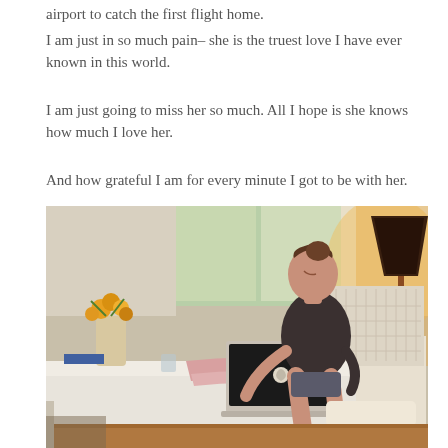airport to catch the first flight home.
I am just in so much pain– she is the truest love I have ever known in this world.
I am just going to miss her so much. All I hope is she knows how much I love her.
And how grateful I am for every minute I got to be with her.
[Figure (photo): A woman sitting at a white dining table working on a MacBook laptop. She has her hair up and is wearing a dark top. On the table are flowers in a vase, a pink blanket/clothing, and a glass. A floor lamp glows warmly in the background near a window with curtains.]